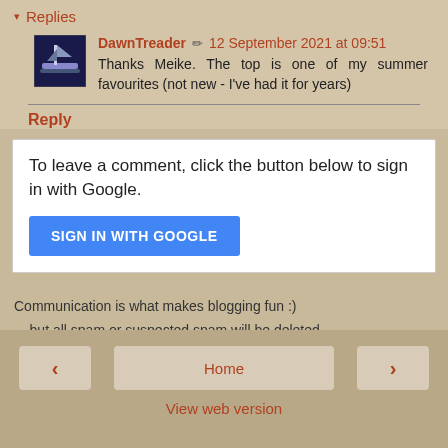▾ Replies
DawnTreader ✏ 12 September 2021 at 09:51
Thanks Meike. The top is one of my summer favourites (not new - I've had it for years)
Reply
To leave a comment, click the button below to sign in with Google.
SIGN IN WITH GOOGLE
Communication is what makes blogging fun :)
... but all spam or suspected spam will be deleted.
< Home > View web version